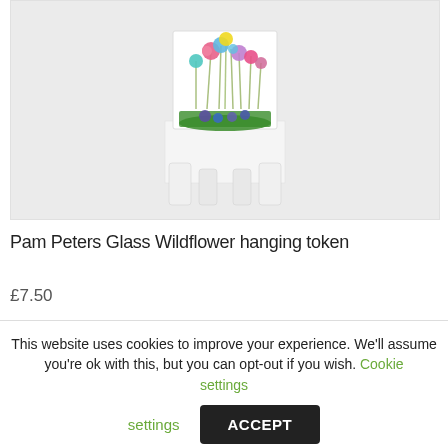[Figure (photo): A fused glass wildflower hanging token displayed on a small white wooden easel stand. The glass piece shows colorful flowers in pink, blue, yellow, and purple against a white background with green grass at the base. The background of the photo is light grey.]
Pam Peters Glass Wildflower hanging token
£7.50
This website uses cookies to improve your experience. We'll assume you're ok with this, but you can opt-out if you wish. Cookie settings ACCEPT